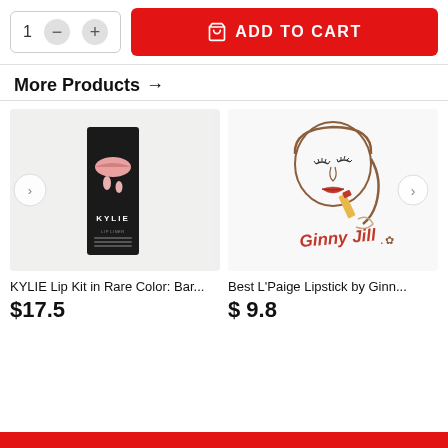[Figure (screenshot): Add to cart bar with quantity selector (showing 1, minus and plus buttons) and a red ADD TO CART button with cart icon]
More Products →
[Figure (photo): KYLIE Lip Kit in black packaging with pink lip graphic, placed on white surface]
[Figure (illustration): Line art illustration of a woman applying lipstick, with Ginny Jill brand logo in red script]
KYLIE Lip Kit in Rare Color: Bar...
$17.5
Best L'Paige Lipstick by Ginn...
$ 9.8